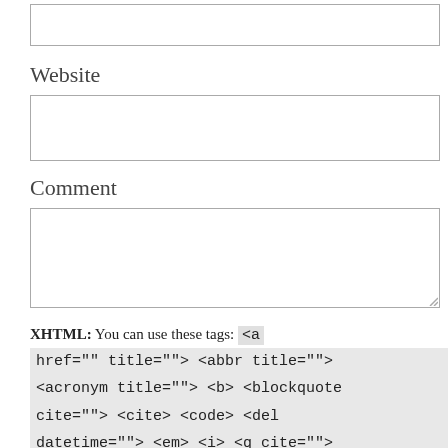[Figure (screenshot): An empty text input box (form field) at the top of the page]
Website
[Figure (screenshot): An empty text input box for website URL]
Comment
[Figure (screenshot): An empty textarea for comment input with resize handle]
XHTML: You can use these tags: <a href="" title=""> <abbr title=""> <acronym title=""> <b> <blockquote cite=""> <cite> <code> <del datetime=""> <em> <i> <q cite=""> <s> <strike> <strong>